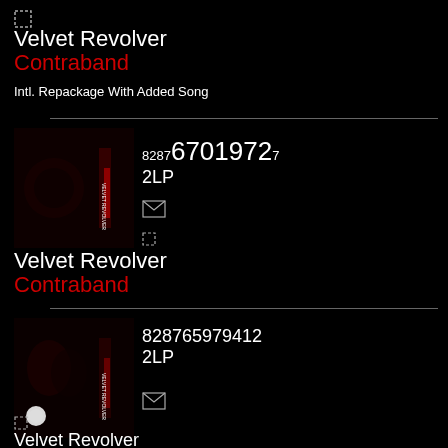[Figure (other): Dashed rectangle checkbox icon]
Velvet Revolver
Contraband
Intl. Repackage With Added Song
[Figure (photo): Album cover art for Velvet Revolver Contraband - dark image]
82876701972 7
2LP
[Figure (other): Envelope/email icon]
[Figure (other): Dashed rectangle checkbox icon]
Velvet Revolver
Contraband
[Figure (photo): Album cover art for Velvet Revolver Contraband - dark image with hands]
828765979412
2LP
[Figure (other): Envelope/email icon]
[Figure (other): Dashed rectangle checkbox icon]
Velvet Revolver
Contraband